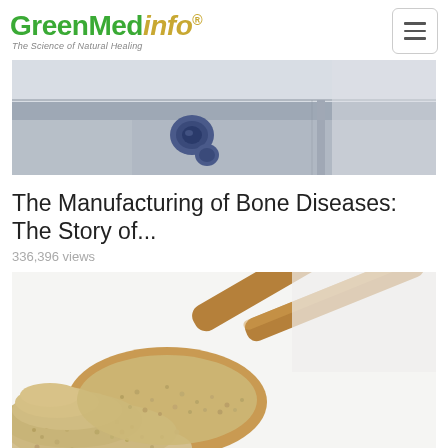GreenMedinfo® — The Science of Natural Healing
[Figure (photo): Close-up image of what appears to be laboratory or industrial equipment with a metallic surface and a circular blue element, light grey/blue background]
The Manufacturing of Bone Diseases: The Story of...
336,396 views
[Figure (photo): Close-up photo of oat bran or similar grain/powder in a wooden spoon on a white background]